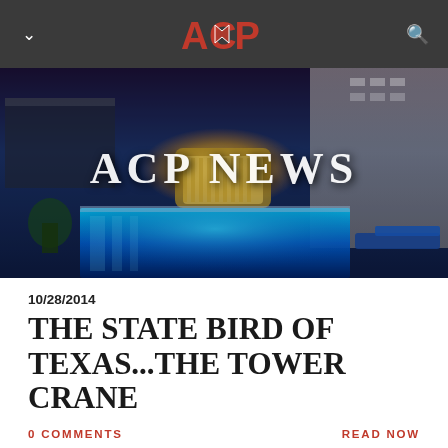[Figure (screenshot): ACP website navigation bar with dark gray background, ACP logo in center, chevron/down arrow on left, search icon on right]
[Figure (photo): Night photo of a luxury hotel pool area with glowing blue illuminated pool, cabanas on left, modern building on right, warm golden lights in background, with ACP NEWS text overlay]
10/28/2014
THE STATE BIRD OF TEXAS...THE TOWER CRANE
0 COMMENTS
READ NOW